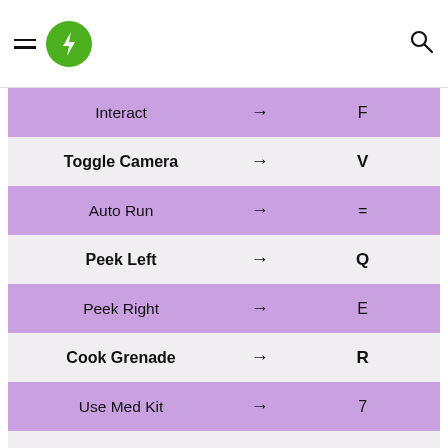Navigation header with hamburger menu, green lightning bolt logo, and search icon
| Action | → | Key |
| --- | --- | --- |
| Interact | → | F |
| Toggle Camera | → | V |
| Auto Run | → | = |
| Peek Left | → | Q |
| Peek Right | → | E |
| Cook Grenade | → | R |
| Use Med Kit | → | 7 |
| Unarm | → | X |
| Toggle Firing Mode | → | B |